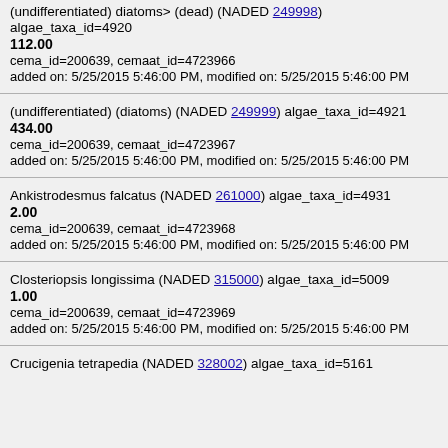(undifferentiated) diatoms> (dead) (NADED 249998) algae_taxa_id=4920
112.00
cema_id=200639, cemaat_id=4723966
added on: 5/25/2015 5:46:00 PM, modified on: 5/25/2015 5:46:00 PM
(undifferentiated) (diatoms) (NADED 249999) algae_taxa_id=4921
434.00
cema_id=200639, cemaat_id=4723967
added on: 5/25/2015 5:46:00 PM, modified on: 5/25/2015 5:46:00 PM
Ankistrodesmus falcatus (NADED 261000) algae_taxa_id=4931
2.00
cema_id=200639, cemaat_id=4723968
added on: 5/25/2015 5:46:00 PM, modified on: 5/25/2015 5:46:00 PM
Closteriopsis longissima (NADED 315000) algae_taxa_id=5009
1.00
cema_id=200639, cemaat_id=4723969
added on: 5/25/2015 5:46:00 PM, modified on: 5/25/2015 5:46:00 PM
Crucigenia tetrapedia (NADED 328002) algae_taxa_id=5161